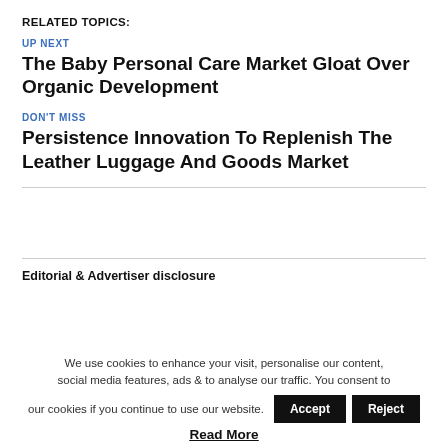RELATED TOPICS:
UP NEXT
The Baby Personal Care Market Gloat Over Organic Development
DON'T MISS
Persistence Innovation To Replenish The Leather Luggage And Goods Market
Editorial & Advertiser disclosure
We use cookies to enhance your visit, personalise our content, social media features, ads & to analyse our traffic. You consent to our cookies if you continue to use our website.
Read More